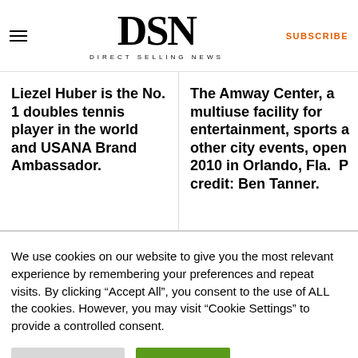DSN DIRECT SELLING NEWS
Liezel Huber is the No. 1 doubles tennis player in the world and USANA Brand Ambassador.
The Amway Center, a multiuse facility for entertainment, sports and other city events, opened in 2010 in Orlando, Fla.  Photo credit: Ben Tanner.
We use cookies on our website to give you the most relevant experience by remembering your preferences and repeat visits. By clicking “Accept All”, you consent to the use of ALL the cookies. However, you may visit "Cookie Settings" to provide a controlled consent.